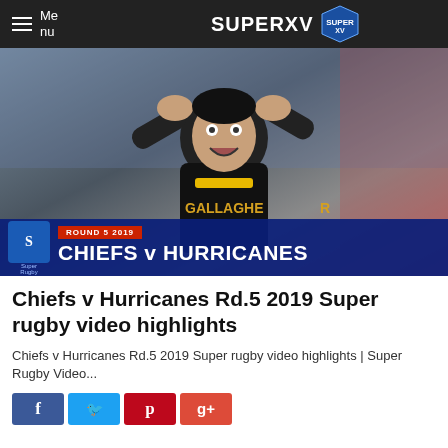Menu | SUPERXV
[Figure (photo): Rugby player in black Chiefs jersey with hands on head, overlaid with Super Rugby banner showing CHIEFS v HURRICANES ROUND 5 2019]
Chiefs v Hurricanes Rd.5 2019 Super rugby video highlights
Chiefs v Hurricanes Rd.5 2019 Super rugby video highlights | Super Rugby Video...